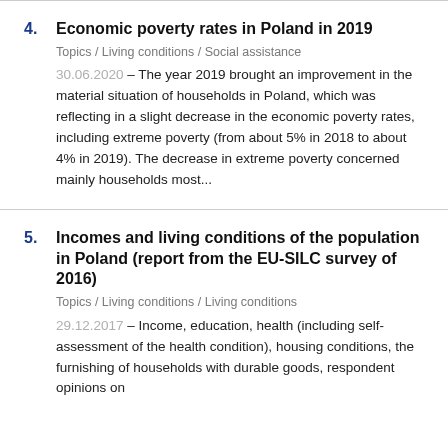4. Economic poverty rates in Poland in 2019
Topics / Living conditions / Social assistance
30.06.2020 – The year 2019 brought an improvement in the material situation of households in Poland, which was reflecting in a slight decrease in the economic poverty rates, including extreme poverty (from about 5% in 2018 to about 4% in 2019). The decrease in extreme poverty concerned mainly households most...
5. Incomes and living conditions of the population in Poland (report from the EU-SILC survey of 2016)
Topics / Living conditions / Living conditions
29.12.2017 – Income, education, health (including self-assessment of the health condition), housing conditions, the furnishing of households with durable goods, respondent opinions on...